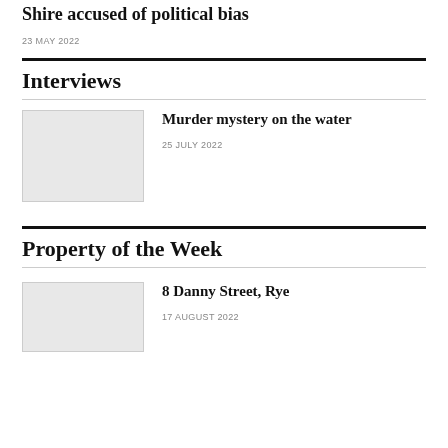Shire accused of political bias
23 MAY 2022
Interviews
Murder mystery on the water
25 JULY 2022
Property of the Week
8 Danny Street, Rye
17 AUGUST 2022